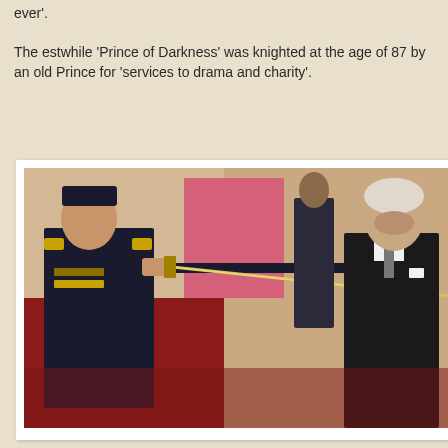ever'.
The estwhile 'Prince of Darkness' was knighted at the age of 87 by an old Prince for 'services to drama and charity'.
[Figure (photo): A knighting ceremony: an older man in a dark suit stands facing left while someone in a naval uniform holds a sword on his shoulder. Red carpet and ornate interior visible in background.]